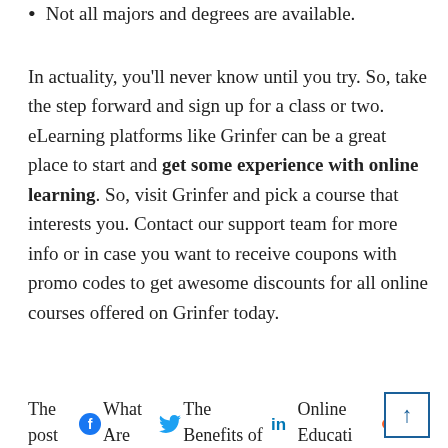Not all majors and degrees are available.
In actuality, you’ll never know until you try. So, take the step forward and sign up for a class or two. eLearning platforms like Grinfer can be a great place to start and get some experience with online learning. So, visit Grinfer and pick a course that interests you. Contact our support team for more info or in case you want to receive coupons with promo codes to get awesome discounts for all online courses offered on Grinfer today.
The post What Are The Benefits of Online Education?